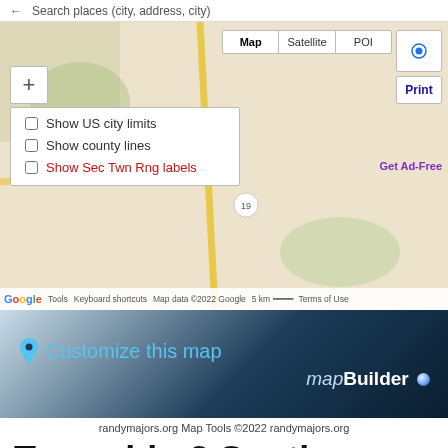[Figure (screenshot): Google Maps interface showing a terrain/road map with Map/Satellite/POI tabs, zoom button, dropdown with checkboxes (Show US city limits, Show county lines, Show Sec Twn Rng labels), location and print buttons, and Get Ad-Free link. Map bottom bar shows Google logo, Keyboard shortcuts, Map data ©2022 Google, 5 km scale, Terms of Use.]
[Figure (screenshot): Customize this map banner with mapBuilder logo and blue gradient background]
randymajors.org Map Tools ©2022 randymajors.org
Township 2 South, Range 22 East, Willamette